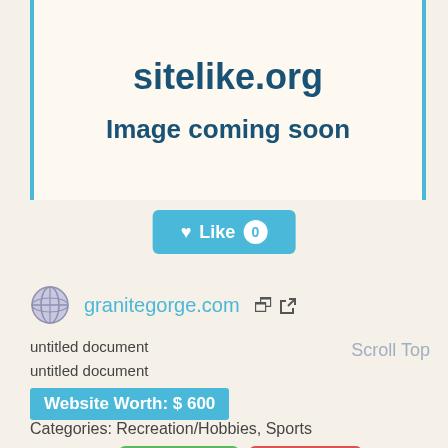sitelike.org
Image coming soon
[Figure (screenshot): Like button with heart icon and count 0]
granitegorge.com
untitled document
untitled document
Scroll Top
Website Worth: $ 600
Categories: Recreation/Hobbies, Sports
Is it similar? Yes 0  No 0